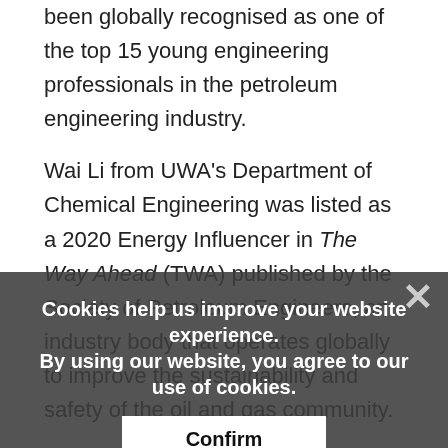been globally recognised as one of the top 15 young engineering professionals in the petroleum engineering industry.
Wai Li from UWA's Department of Chemical Engineering was listed as a 2020 Energy Influencer in The Way Ahead (TWA) published by the Society of Petroleum Engineers, an industry body that operates globally to improve the sustainability and safety of the oil and gas community.
Mr Li, who has published more than 20 technical papers and holds three Chinese patents, said the Energy...
Cookies help us improve your website experience.
By using our website, you agree to our use of cookies.